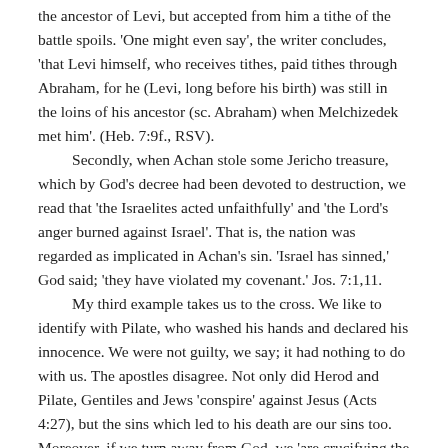the ancestor of Levi, but accepted from him a tithe of the battle spoils. 'One might even say', the writer concludes, 'that Levi himself, who receives tithes, paid tithes through Abraham, for he (Levi, long before his birth) was still in the loins of his ancestor (sc. Abraham) when Melchizedek met him'. (Heb. 7:9f., RSV).

Secondly, when Achan stole some Jericho treasure, which by God's decree had been devoted to destruction, we read that 'the Israelites acted unfaithfully' and 'the Lord's anger burned against Israel'. That is, the nation was regarded as implicated in Achan's sin. 'Israel has sinned,' God said; 'they have violated my covenant.' Jos. 7:1,11.

My third example takes us to the cross. We like to identify with Pilate, who washed his hands and declared his innocence. We were not guilty, we say; it had nothing to do with us. The apostles disagree. Not only did Herod and Pilate, Gentiles and Jews 'conspire' against Jesus (Acts 4:27), but the sins which led to his death are our sins too. Moreover, if we turn away from God, we 'are crucifying the Son of God all over again' (Heb. 6:6). 'Were you there'